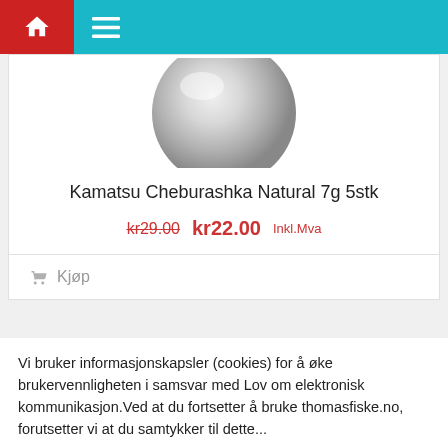Navigation bar with home icon and menu icon
[Figure (photo): Silver/chrome metallic ball product image (Cheburashka fishing weight), bottom portion visible against white background]
Kamatsu Cheburashka Natural 7g 5stk
kr29.00  kr22.00  Inkl.Mva
Kjøp
Vi bruker informasjonskapsler (cookies) for å øke brukervennligheten i samsvar med Lov om elektronisk kommunikasjon.Ved at du fortsetter å bruke thomasfiske.no, forutsetter vi at du samtykker til dette...
Cookie Settings  Accept All